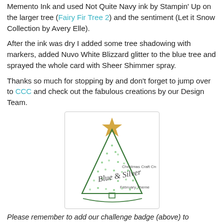Memento Ink and used Not Quite Navy ink by Stampin' Up on the larger tree (Fairy Fir Tree 2) and the sentiment (Let it Snow Collection by Avery Elle).
After the ink was dry I added some tree shadowing with markers, added Nuvo White Blizzard glitter to the blue tree and sprayed the whole card with Sheer Shimmer spray.
Thanks so much for stopping by and don't forget to jump over to CCC and check out the fabulous creations by our Design Team.
[Figure (logo): Christmas Craft Creations badge with a green triangle Christmas tree outline, gold star on top, green dot decorations, and cursive text reading 'Blue & Silver' with 'Christmas Craft Creations' and 'February Theme' labels.]
Please remember to add our challenge badge (above) to